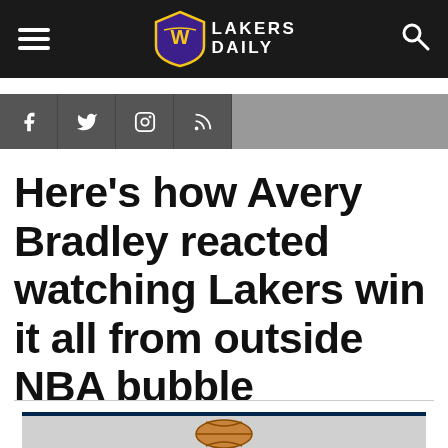Lakers Daily — navigation bar with hamburger menu, logo, and search icon
[Figure (infographic): Social media icons bar: Facebook, Twitter, Instagram, RSS feed icons on dark gray background followed by lighter gray bar]
Here's how Avery Bradley reacted watching Lakers win it all from outside NBA bubble
[Figure (photo): Bottom cropped photo showing basketball]